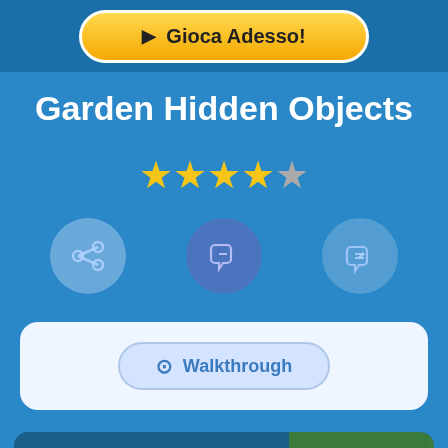[Figure (screenshot): Golden play button with text 'Gioca Adesso!' and play icon, on dark blue background bar]
Garden Hidden Objects
★★★★☆ (4 out of 5 stars rating)
[Figure (infographic): Three circular icon buttons: share button (left, light blue), dislike/feedback button (center, purple-blue), like/thumbs-up button (right, light blue)]
Walkthrough
Trova Le Differenze
[Figure (screenshot): Thumbnail for PixelCraft Differences game showing Minecraft-style characters with text 'PIXELCRAFT DIFFERENCES']